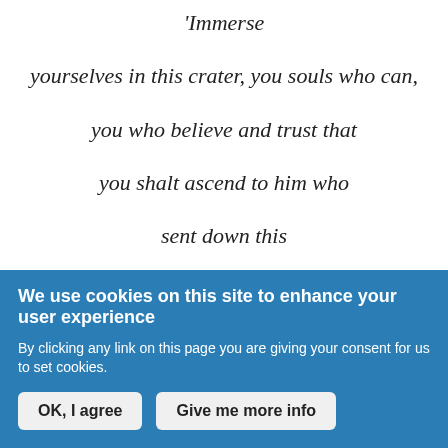'Immerse yourselves in this crater, you souls who can, you who believe and trust that you shalt ascend to him who sent down this mixing vessel. You who know for
We use cookies on this site to enhance your user experience
By clicking any link on this page you are giving your consent for us to set cookies.